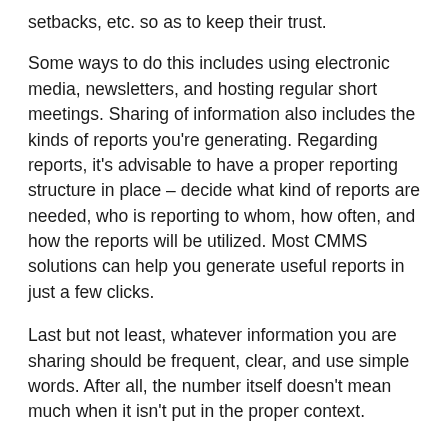setbacks, etc. so as to keep their trust.
Some ways to do this includes using electronic media, newsletters, and hosting regular short meetings. Sharing of information also includes the kinds of reports you're generating. Regarding reports, it's advisable to have a proper reporting structure in place – decide what kind of reports are needed, who is reporting to whom, how often, and how the reports will be utilized. Most CMMS solutions can help you generate useful reports in just a few clicks.
Last but not least, whatever information you are sharing should be frequent, clear, and use simple words. After all, the number itself doesn't mean much when it isn't put in the proper context.
3) Revenue and Expenses
Controlling costs is a primary focus that all facility managers can relate with and many times, your managerial skills will be judged by how well you manage your funds...